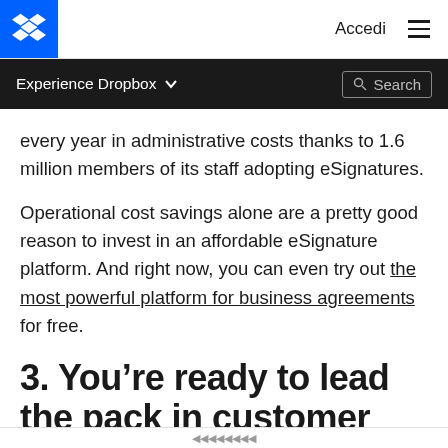Accedi | ☰ | Experience Dropbox ∨ | Search
every year in administrative costs thanks to 1.6 million members of its staff adopting eSignatures.
Operational cost savings alone are a pretty good reason to invest in an affordable eSignature platform. And right now, you can even try out the most powerful platform for business agreements for free.
3. You're ready to lead the pack in customer experience